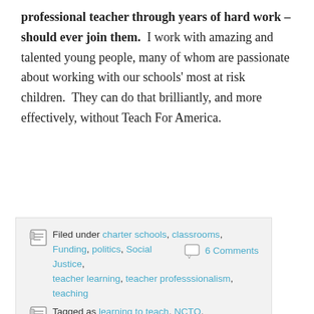professional teacher through years of hard work – should ever join them. I work with amazing and talented young people, many of whom are passionate about working with our schools' most at risk children. They can do that brilliantly, and more effectively, without Teach For America.
Filed under charter schools, classrooms, Funding, politics, Social Justice, teacher learning, teacher professsionalism, teaching   6 Comments
Tagged as learning to teach, NCTQ, opportunity, Poverty, Teach For America